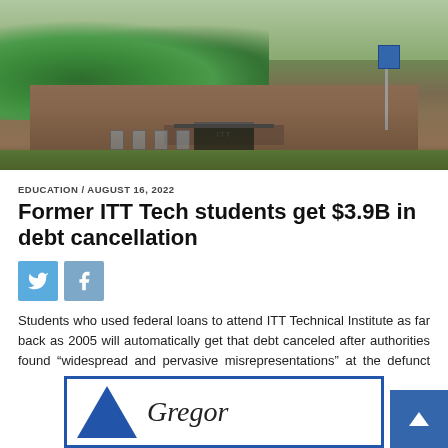[Figure (photo): Exterior photo of a brick building (ITT Technical Institute campus), with trees in front, a glass entrance, and a parking area with lawn.]
EDUCATION / AUGUST 16, 2022
Former ITT Tech students get $3.9B in debt cancellation
[Figure (logo): Twitter bird icon in a light blue square button]
[Figure (logo): Facebook 'f' icon in a light blue-gray square button]
Students who used federal loans to attend ITT Technical Institute as far back as 2005 will automatically get that debt canceled after authorities found “widespread and pervasive misrepresentations” at the defunct for-profit college chain.
READ MORE
[Figure (logo): Bottom partial view: Gregory company logo with blue triangle and italic text 'Gregory', bordered by a blue rectangle frame. Scroll-to-top button in blue on the right.]